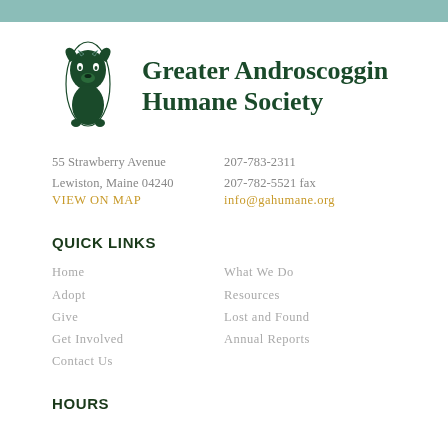[Figure (logo): Greater Androscoggin Humane Society logo: a dog and cat illustration in dark green ink]
Greater Androscoggin Humane Society
55 Strawberry Avenue
Lewiston, Maine 04240
VIEW ON MAP
207-783-2311
207-782-5521 fax
info@gahumane.org
QUICK LINKS
Home
Adopt
Give
Get Involved
Contact Us
What We Do
Resources
Lost and Found
Annual Reports
HOURS